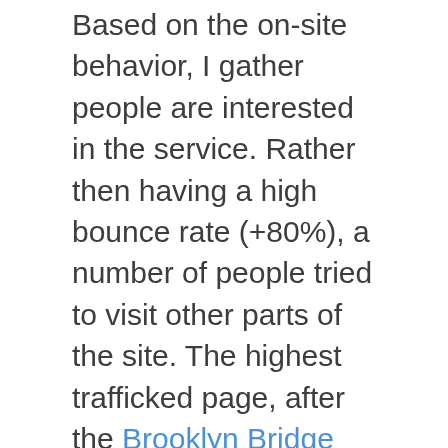Based on the on-site behavior, I gather people are interested in the service. Rather then having a high bounce rate (+80%), a number of people tried to visit other parts of the site. The highest trafficked page, after the Brooklyn Bridge White Flag page, was the graffiti index page. The best way to get to that page is the top navigation link or the back button at the end of the Brooklyn Bridge White Flag page. If the 'back' button was the driver, Im not sure if this is people trying to get back to Reddit, or whether they intended to go to the graffiti index page.
I could better track my pages to know the exact cause. For now, no one is registering and commenting. This is okay because the website is